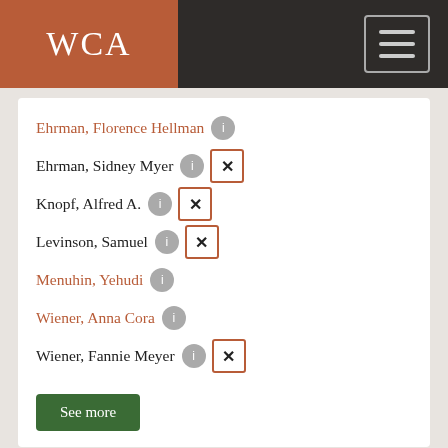WCA
Ehrman, Florence Hellman [1]
Ehrman, Sidney Myer [1] [x]
Knopf, Alfred A. [1] [x]
Levinson, Samuel [1] [x]
Menuhin, Yehudi [1]
Wiener, Anna Cora [1]
Wiener, Fannie Meyer [1] [x]
See more
Creator
Willa Cather [1] [x]
See more